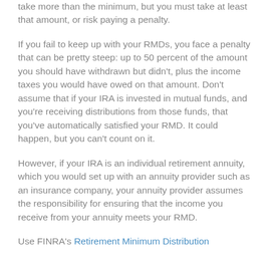take more than the minimum, but you must take at least that amount, or risk paying a penalty.
If you fail to keep up with your RMDs, you face a penalty that can be pretty steep: up to 50 percent of the amount you should have withdrawn but didn't, plus the income taxes you would have owed on that amount. Don't assume that if your IRA is invested in mutual funds, and you're receiving distributions from those funds, that you've automatically satisfied your RMD. It could happen, but you can't count on it.
However, if your IRA is an individual retirement annuity, which you would set up with an annuity provider such as an insurance company, your annuity provider assumes the responsibility for ensuring that the income you receive from your annuity meets your RMD.
Use FINRA's Retirement Minimum Distribution